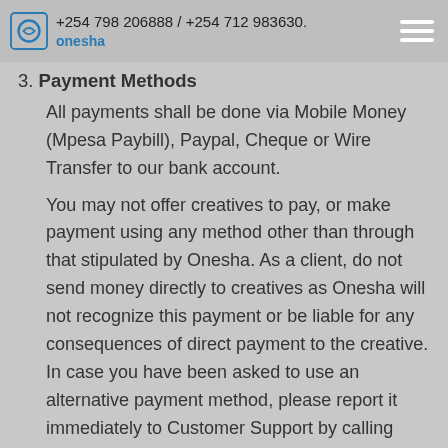+254 798 206888 / +254 712 983630. onesha
3. Payment Methods
All payments shall be done via Mobile Money (Mpesa Paybill), Paypal, Cheque or Wire Transfer to our bank account.
You may not offer creatives to pay, or make payment using any method other than through that stipulated by Onesha. As a client, do not send money directly to creatives as Onesha will not recognize this payment or be liable for any consequences of direct payment to the creative. In case you have been asked to use an alternative payment method, please report it immediately to Customer Support by calling Onesha at +254 712 983630.
4. Payment Amount